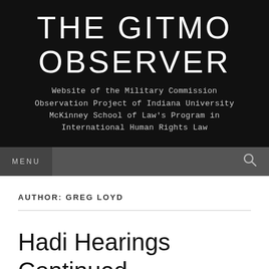THE GITMO OBSERVER
Website of the Military Commission Observation Project of Indiana University McKinney School of Law's Program in International Human Rights Law
MENU
AUTHOR: GREG LOYD
Hadi Hearings Continued